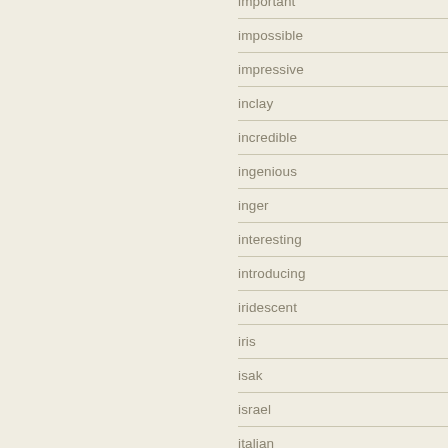important
impossible
impressive
inclay
incredible
ingenious
inger
interesting
introducing
iridescent
iris
isak
israel
italian
jacob
james